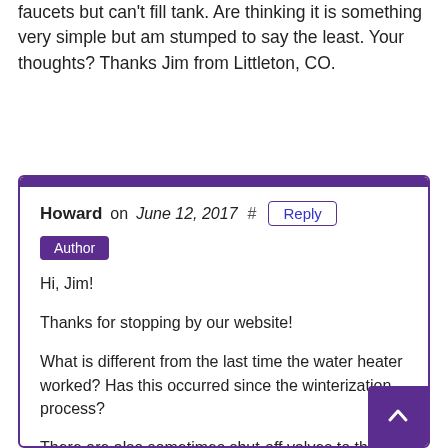faucets but can't fill tank. Are thinking it is something very simple but am stumped to say the least. Your thoughts? Thanks Jim from Littleton, CO.
Howard on June 12, 2017 # Reply
Author
Hi, Jim!

Thanks for stopping by our website!

What is different from the last time the water heater worked? Has this occurred since the winterization process?

There are also sometimes shut-off valves to the hot and cold water at the back of the water heater. Also, how do you know that there is no water in the tank? If you pull the anode rod out (been checked recently?) does water come out? Does the propane system ignite when switched on?